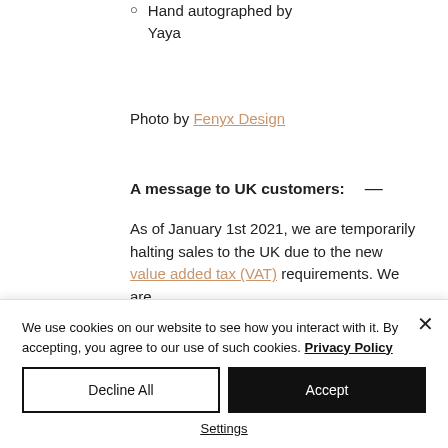Hand autographed by Yaya
Photo by Fenyx Design
A message to UK customers: —
As of January 1st 2021, we are temporarily halting sales to the UK due to the new value added tax (VAT) requirements. We are
We use cookies on our website to see how you interact with it. By accepting, you agree to our use of such cookies. Privacy Policy
Decline All
Accept
Settings